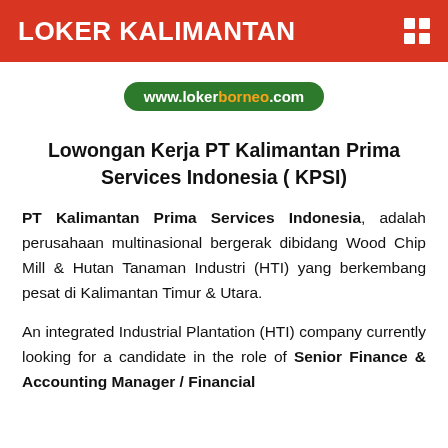LOKER KALIMANTAN
[Figure (logo): www.lokerborneo.com badge logo with green background and orange/white text]
Lowongan Kerja PT Kalimantan Prima Services Indonesia ( KPSI)
PT Kalimantan Prima Services Indonesia, adalah perusahaan multinasional bergerak dibidang Wood Chip Mill & Hutan Tanaman Industri (HTI) yang berkembang pesat di Kalimantan Timur & Utara.
An integrated Industrial Plantation (HTI) company currently looking for a candidate in the role of Senior Finance & Accounting Manager / Financial